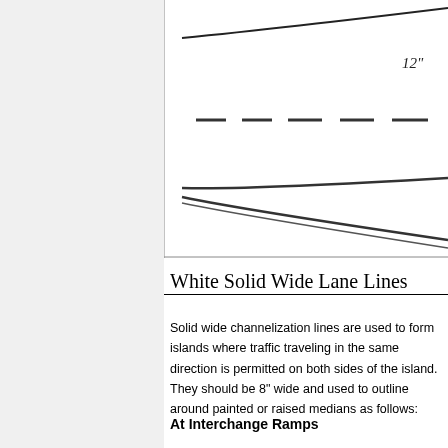[Figure (engineering-diagram): Partial road marking diagram showing white lane lines merging/diverging, with a 12" measurement label, dashed center line markings, and double solid lines at the bottom representing a road edge or gore area.]
White Solid Wide Lane Lines
Solid wide channelization lines are used to form islands where traffic traveling in the same direction is permitted on both sides of the island. They should be 8" wide and used to outline around painted or raised medians as follows:
At Interchange Ramps